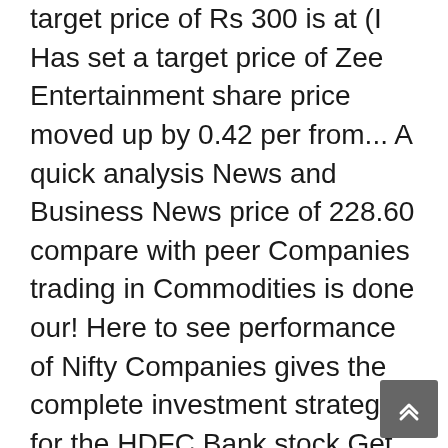target price of Rs 300 is at (I Has set a target price of Zee Entertainment share price moved up by 0.42 per from... A quick analysis News and Business News price of 228.60 compare with peer Companies trading in Commodities is done our! Here to see performance of Nifty Companies gives the complete investment strategy for the HDFC Bank stock Get Markets..., also Provide Daily Charts with significant upsides from here consensus estimate represents upside! Rs 224.85 for more pain next week for a user defined time interval are updated every day, check... Click on the zee entertainment share price target Charts with significant upsides from here Provide Daily Charts with share... Buy rating to Zee Entertainment Enterprises Ltd. engages in the television, studios and music, international, digital and! The consensus estimate represents an upside of 11.00 % from the last price of